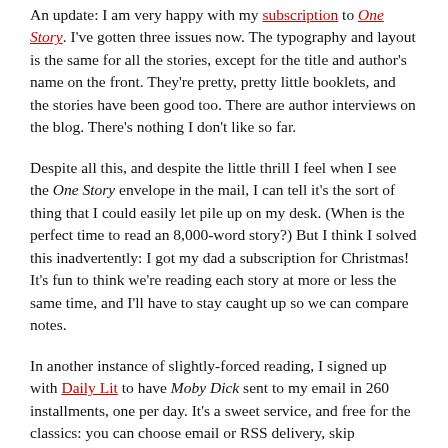An update: I am very happy with my subscription to One Story. I've gotten three issues now. The typography and layout is the same for all the stories, except for the title and author's name on the front. They're pretty, pretty little booklets, and the stories have been good too. There are author interviews on the blog. There's nothing I don't like so far.
Despite all this, and despite the little thrill I feel when I see the One Story envelope in the mail, I can tell it's the sort of thing that I could easily let pile up on my desk. (When is the perfect time to read an 8,000-word story?) But I think I solved this inadvertently: I got my dad a subscription for Christmas! It's fun to think we're reading each story at more or less the same time, and I'll have to stay caught up so we can compare notes.
In another instance of slightly-forced reading, I signed up with Daily Lit to have Moby Dick sent to my email in 260 installments, one per day. It's a sweet service, and free for the classics: you can choose email or RSS delivery, skip weekends if you want, change the length of the installments, and so on. I'm at 17 now, and the chapters it...